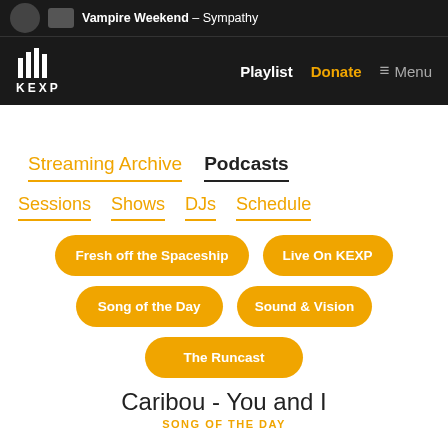Vampire Weekend – Sympathy
KEXP — Playlist  Donate  Menu
Streaming Archive   Podcasts
Sessions   Shows   DJs   Schedule
Fresh off the Spaceship
Live On KEXP
Song of the Day
Sound & Vision
The Runcast
Caribou - You and I
SONG OF THE DAY